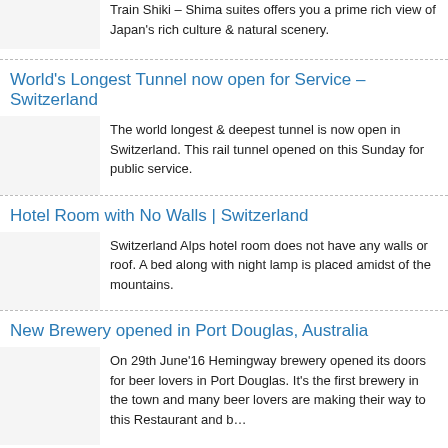Train Shiki – Shima suites offers you a prime rich view of Japan's rich culture & natural scenery.
World's Longest Tunnel now open for Service – Switzerland
The world longest & deepest tunnel is now open in Switzerland. This rail tunnel opened on this Sunday for public service.
Hotel Room with No Walls | Switzerland
Switzerland Alps hotel room does not have any walls or roof. A bed along with night lamp is placed amidst of the mountains.
New Brewery opened in Port Douglas, Australia
On 29th June'16 Hemingway brewery opened its doors for beer lovers in Port Douglas. It's the first brewery in the town and many beer lovers are making their way to this Restaurant and b…